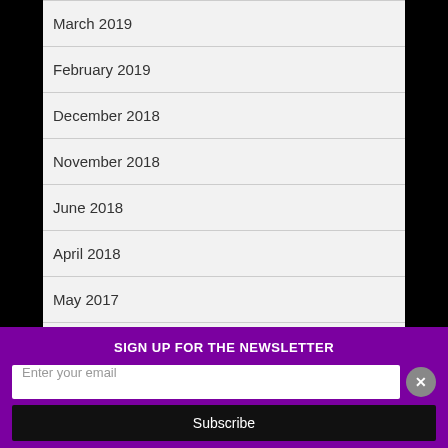March 2019
February 2019
December 2018
November 2018
June 2018
April 2018
May 2017
SIGN UP FOR THE NEWSLETTER
Enter your email
Subscribe